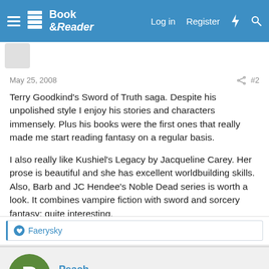Book & Reader — Log in  Register
May 25, 2008  #2
Terry Goodkind's Sword of Truth saga. Despite his unpolished style I enjoy his stories and characters immensely. Plus his books were the first ones that really made me start reading fantasy on a regular basis.

I also really like Kushiel's Legacy by Jacqueline Carey. Her prose is beautiful and she has excellent worldbuilding skills. Also, Barb and JC Hendee's Noble Dead series is worth a look. It combines vampire fiction with sword and sorcery fantasy; quite interesting.
Faerysky
Peach
New Member